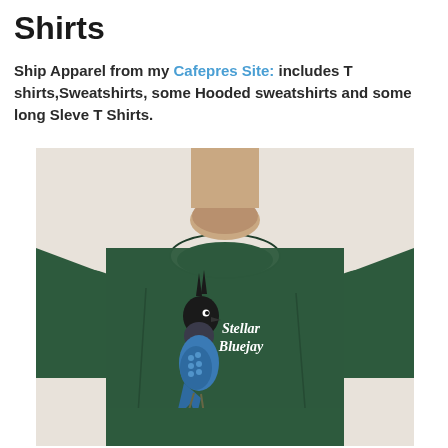Shirts
Ship Apparel from my Cafepres Site: includes T shirts,Sweatshirts, some Hooded sweatshirts and some long Sleve T Shirts.
[Figure (photo): Man wearing a dark green t-shirt with a Steller's Bluejay bird illustration and 'Stellar Bluejay' text in old English font on the chest]